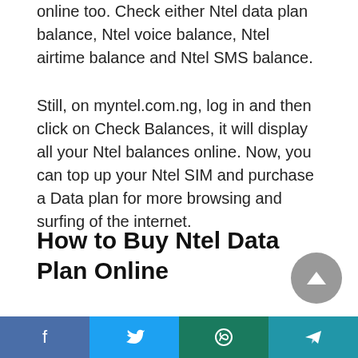online too. Check either Ntel data plan balance, Ntel voice balance, Ntel airtime balance and Ntel SMS balance.
Still, on myntel.com.ng, log in and then click on Check Balances, it will display all your Ntel balances online. Now, you can top up your Ntel SIM and purchase a Data plan for more browsing and surfing of the internet.
How to Buy Ntel Data Plan Online
*. Firstly, go to http://myntel.com.ng
[Figure (other): Scroll-to-top button, grey circle with upward triangle arrow]
Social share bar with Facebook, Twitter, WhatsApp, Telegram icons